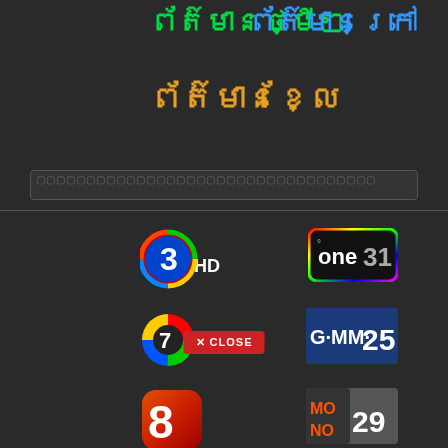ព័ត៌មានថ្មីៗ
ព័ត៌មានក្រៅ
ព័ត៌មានខ្លែ
Search bar placeholder
[Figure (logo): Channel 3 HD logo]
[Figure (logo): One 31 logo]
[Figure (logo): Channel 7 HD logo]
[Figure (logo): Close button]
[Figure (logo): GMM 25 logo]
[Figure (logo): Channel 8 logo]
[Figure (logo): MONO 29 logo]
[Figure (logo): NBTV logo]
[Figure (logo): True 4U logo]
[Figure (logo): PPTV HD 36 logo]
[Figure (logo): Workpoint TV logo]